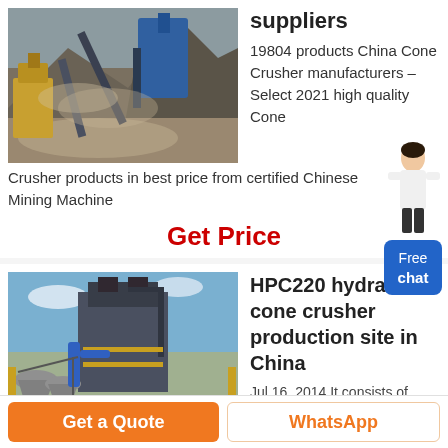[Figure (photo): Mining/quarry scene with large industrial crusher machinery and mountains in background]
suppliers
19804 products China Cone Crusher manufacturers – Select 2021 high quality Cone Crusher products in best price from certified Chinese Mining Machine
[Figure (illustration): Small person/assistant figure overlay near chat bubble]
Get Price
[Figure (photo): HPC220 hydraulic cone crusher production facility in China with industrial equipment and blue sky]
HPC220 hydraulic cone crusher production site in China
Jul 16, 2014 It consists of